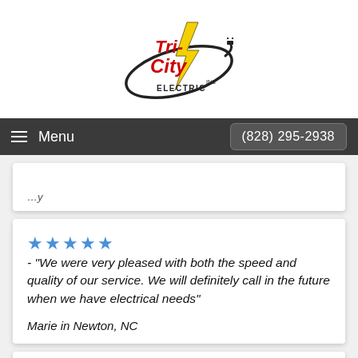[Figure (logo): Tri-City Electric Inc. logo with lightning bolt and electrical plug, text in red and black with yellow lightning bolt, oval orbit graphic]
Menu   (828) 295-2938
★★★★★ - "We were very pleased with both the speed and quality of our service. We will definitely call in the future when we have electrical needs"  Marie in Newton, NC
★★★★★ - "Service and response was quick and